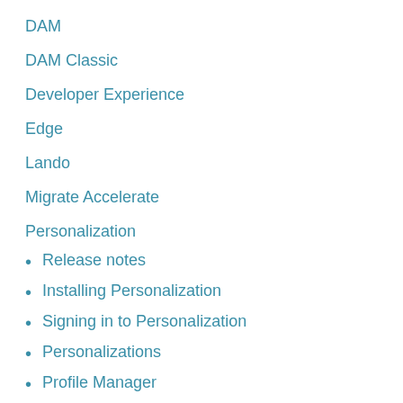DAM
DAM Classic
Developer Experience
Edge
Lando
Migrate Accelerate
Personalization
Release notes
Installing Personalization
Signing in to Personalization
Personalizations
Profile Manager
Personalization architecture
Administering data subject rights requests
Personalization glossary
Data warehouse